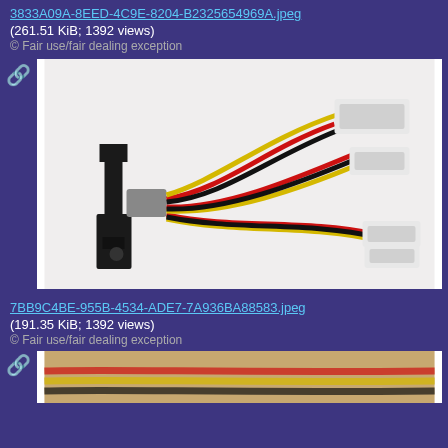3833A09A-8EED-4C9E-8204-B23256549 69A.jpeg
(261.51 KiB; 1392 views)
© Fair use/fair dealing exception
[Figure (photo): PC power cable splitter with black bracket/bracket mount, connected to red, yellow, and black wires with multiple white Molex connectors on the right side.]
7BB9C4BE-955B-4534-ADE7-7A936BA88583.jpeg
(191.35 KiB; 1392 views)
© Fair use/fair dealing exception
[Figure (photo): Close-up of red, yellow, and black wires on a surface.]